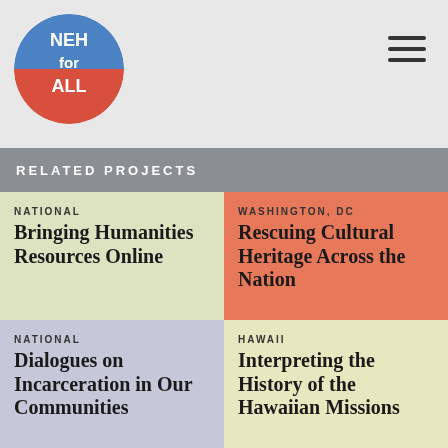NEH for ALL
RELATED PROJECTS
NATIONAL
Bringing Humanities Resources Online
WASHINGTON, DC
Rescuing Cultural Heritage Across the Nation
NATIONAL
Dialogues on Incarceration in Our Communities
HAWAII
Interpreting the History of the Hawaiian Missions